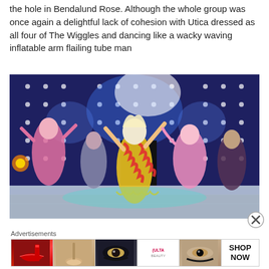the hole in Bendelund Rose. Although the whole group was once again a delightful lack of cohesion with Utica dressed as all four of The Wiggles and dancing like a wacky waving inflatable arm flailing tube man
[Figure (photo): Performance photo of drag queens on a stage with LED grid lighting. Center performer in colorful zigzag bodysuit with fringe and blonde hair, arms raised, flanked by four other performers in pink and dark outfits.]
Advertisements
[Figure (photo): ULTA Beauty advertisement banner showing close-ups of makeup looks including lips, eye shadow, and the ULTA logo with SHOP NOW text.]